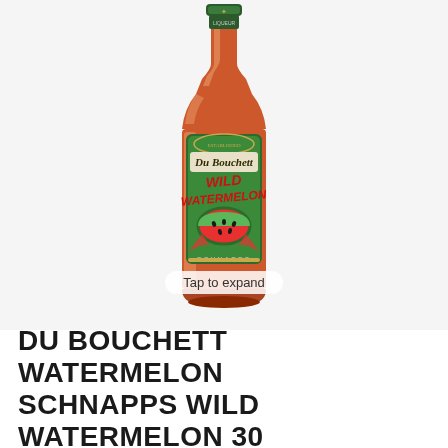[Figure (photo): A bottle of Du Bouchett Wild Watermelon Schnapps liqueur with a green label featuring watermelon imagery and red liquid inside the bottle. A 'Tap to expand' tooltip is visible at the bottom of the bottle.]
DU BOUCHETT WATERMELON SCHNAPPS WILD WATERMELON 30